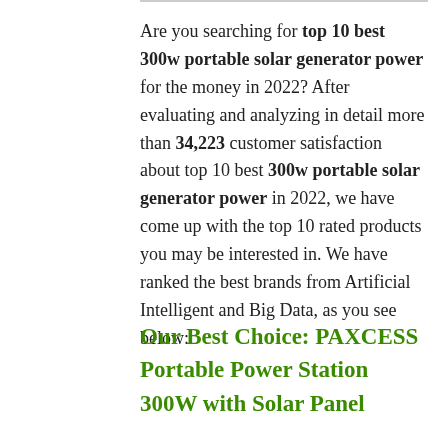Are you searching for top 10 best 300w portable solar generator power for the money in 2022? After evaluating and analyzing in detail more than 34,223 customer satisfaction about top 10 best 300w portable solar generator power in 2022, we have come up with the top 10 rated products you may be interested in. We have ranked the best brands from Artificial Intelligent and Big Data, as you see below:
Our Best Choice: PAXCESS Portable Power Station 300W with Solar Panel